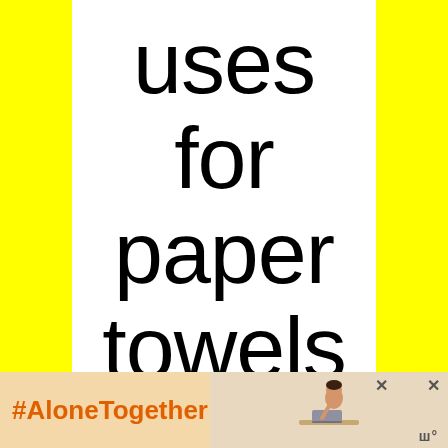uses for paper towels
@createadbydiane
#AloneTogether